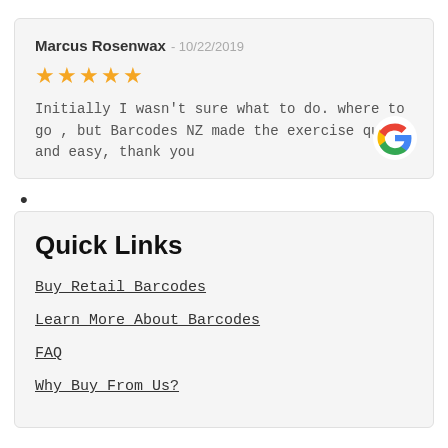Marcus Rosenwax - 10/22/2019
★★★★★
Initially I wasn't sure what to do. where to go , but Barcodes NZ made the exercise quick and easy, thank you
[Figure (logo): Google 'G' logo in multicolor (red, blue, yellow, green)]
Quick Links
Buy Retail Barcodes
Learn More About Barcodes
FAQ
Why Buy From Us?